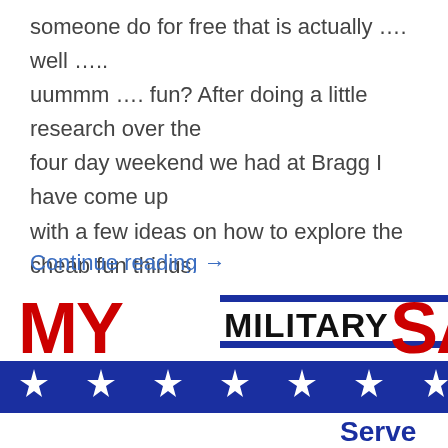someone do for free that is actually …. well ….. uummm …. fun? After doing a little research over the four day weekend we had at Bragg I have come up with a few ideas on how to explore the cheap fun things to do with your family.
Continue reading →
[Figure (logo): MY MILITARY SAVINGS logo with red 'MY', black 'MILITARY' text between blue lines, red 'SAVIN...' text, blue star banner below, and 'Serve' text at bottom right]